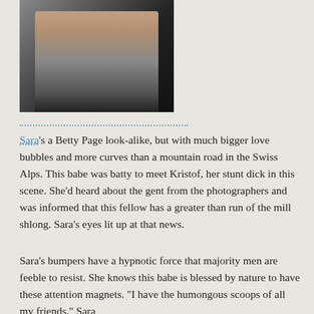[Figure (photo): A woman in silver/grey outfit sitting on a white surface, photographed from waist down]
Sara's a Betty Page look-alike, but with much bigger love bubbles and more curves than a mountain road in the Swiss Alps. This babe was batty to meet Kristof, her stunt dick in this scene. She'd heard about the gent from the photographers and was informed that this fellow has a greater than run of the mill shlong. Sara's eyes lit up at that news.
Sara's bumpers have a hypnotic force that majority men are feeble to resist. She knows this babe is blessed by nature to have these attention magnets. "I have the humongous scoops of all my friends," Sara